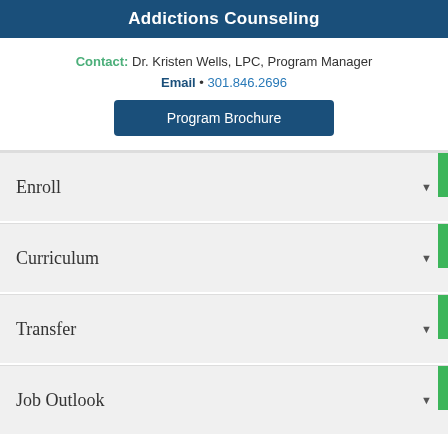Addictions Counseling
Contact: Dr. Kristen Wells, LPC, Program Manager
Email • 301.846.2696
Program Brochure
Enroll
Curriculum
Transfer
Job Outlook
Apply Now
Admissions: Jefferson Hall (J200) • Email • 301.624.2716
Advising: Jefferson Hall(J200) • Email • 301.846.2471